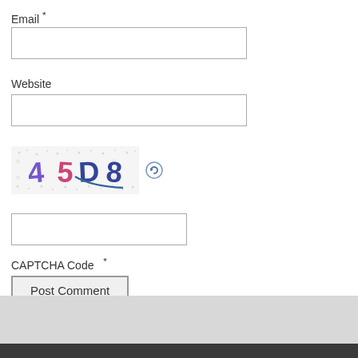Email *
Website
[Figure (other): CAPTCHA image showing '45D8' with distorted letters and a refresh icon]
CAPTCHA Code  *
Post Comment (button)
This site uses Akismet to reduce spam. Learn how your comment data is pro
Kapil's Blog © 2013 | Powered by W
30 queries in